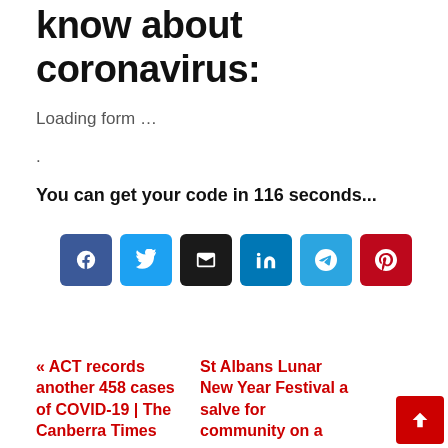know about coronavirus:
Loading form …
.
You can get your code in 116 seconds...
[Figure (other): Social sharing buttons: Facebook, Twitter, Email, LinkedIn, Telegram, Pinterest]
« ACT records another 458 cases of COVID-19 | The Canberra Times
St Albans Lunar New Year Festival a salve for community on a